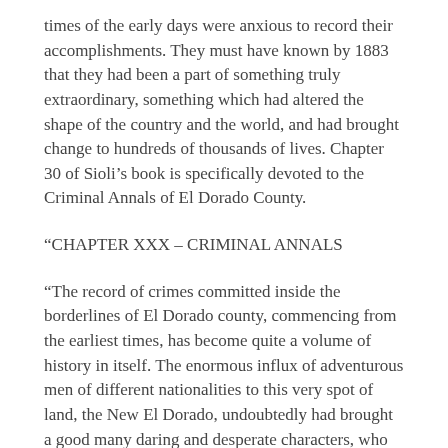times of the early days were anxious to record their accomplishments. They must have known by 1883 that they had been a part of something truly extraordinary, something which had altered the shape of the country and the world, and had brought change to hundreds of thousands of lives. Chapter 30 of Sioli's book is specifically devoted to the Criminal Annals of El Dorado County.
“CHAPTER XXX – CRIMINAL ANNALS
“The record of crimes committed inside the borderlines of El Dorado county, commencing from the earliest times, has become quite a volume of history in itself. The enormous influx of adventurous men of different nationalities to this very spot of land, the New El Dorado, undoubtedly had brought a good many daring and desperate characters, who had come for gain, in the easiest and least troublesome manner, but for gain under all eventualities. There were others whose intention had been to make an honest living and they started in accordingly; but the weakness of mind and body, together with the bad examples they